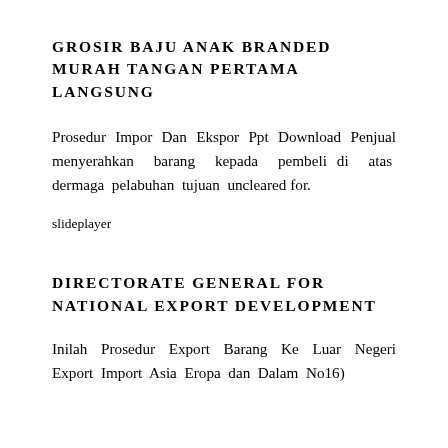GROSIR BAJU ANAK BRANDED MURAH TANGAN PERTAMA LANGSUNG
Prosedur Impor Dan Ekspor Ppt Download Penjual menyerahkan barang kepada pembeli di atas dermaga pelabuhan tujuan uncleared for.
slideplayer
DIRECTORATE GENERAL FOR NATIONAL EXPORT DEVELOPMENT
Inilah Prosedur Export Barang Ke Luar Negeri Export Import Asia Eropa dan Dalam No16)